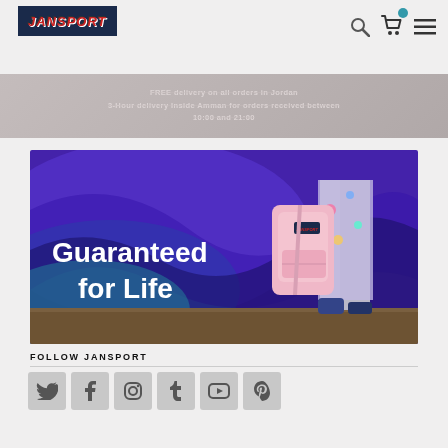[Figure (logo): JanSport logo on dark navy background]
FREE delivery on all orders in Jordan
3-Hour delivery Inside Amman for orders received between
10:00 and 21:00
[Figure (photo): JanSport Guaranteed for Life banner image showing a pink backpack held by a person in front of a colorful purple swirled mural background. Large white bold text reads 'Guaranteed for Life'.]
FOLLOW JANSPORT
[Figure (infographic): Row of social media icons: Twitter, Facebook, Instagram, Tumblr, YouTube, Pinterest]